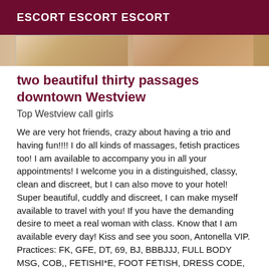ESCORT ESCORT ESCORT
[Figure (photo): Two cropped photo thumbnails of women, side by side, with warm skin tones]
two beautiful thirty passages downtown Westview
Top Westview call girls
We are very hot friends, crazy about having a trio and having fun!!!! I do all kinds of massages, fetish practices too! I am available to accompany you in all your appointments! I welcome you in a distinguished, classy, clean and discreet, but I can also move to your hotel! Super beautiful, cuddly and discreet, I can make myself available to travel with you! If you have the demanding desire to meet a real woman with class. Know that I am available every day! Kiss and see you soon, Antonella VIP. Practices: FK, GFE, DT, 69, BJ, BBBJJJ, FULL BODY MSG, COB,, FETISHI*E, FOOT FETISH, DRESS CODE, LANGERIE, TOYS,PLAY ROLE, DOMI SOFT!